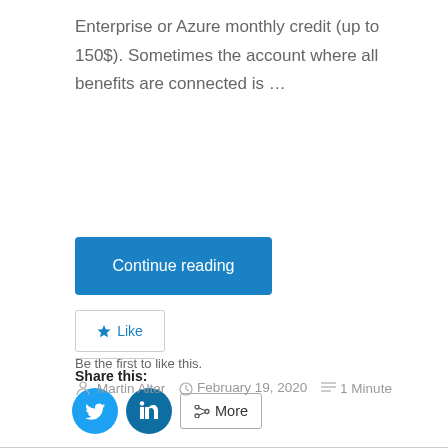Enterprise or Azure monthly credit (up to 150$). Sometimes the account where all benefits are connected is …
Continue reading
Share this:
[Figure (other): Twitter share button (blue circle with bird icon), LinkedIn share button (dark blue circle with 'in' icon), and a More share button (rounded rectangle with share icon)]
Like
Be the first to like this.
Martin Alter   February 19, 2020   1 Minute